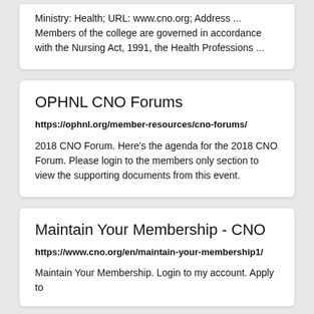Ministry: Health; URL: www.cno.org; Address ... Members of the college are governed in accordance with the Nursing Act, 1991, the Health Professions ...
OPHNL CNO Forums
https://ophnl.org/member-resources/cno-forums/
2018 CNO Forum. Here's the agenda for the 2018 CNO Forum. Please login to the members only section to view the supporting documents from this event.
Maintain Your Membership - CNO
https://www.cno.org/en/maintain-your-membership1/
Maintain Your Membership. Login to my account. Apply to